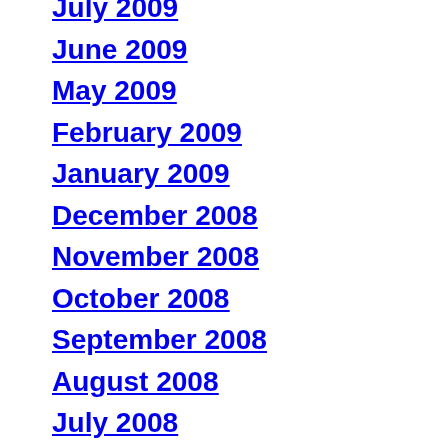July 2009
June 2009
May 2009
February 2009
January 2009
December 2008
November 2008
October 2008
September 2008
August 2008
July 2008
June 2008
May 2008
April 2008
March 2008